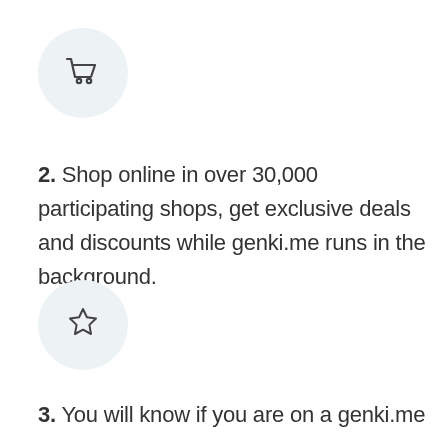[Figure (illustration): Shopping cart icon inside a light blue-gray circle]
2. Shop online in over 30,000 participating shops, get exclusive deals and discounts while genki.me runs in the background.
[Figure (illustration): Star outline icon inside a light blue-gray circle]
3. You will know if you are on a genki.me participating shop when you see it.